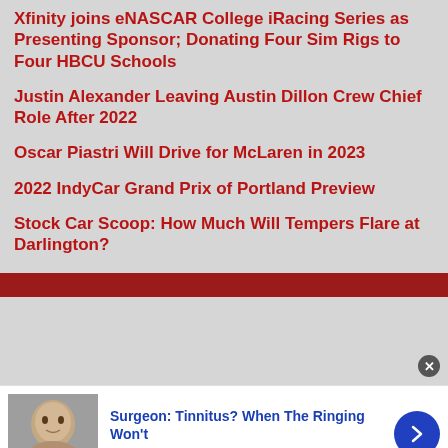Xfinity joins eNASCAR College iRacing Series as Presenting Sponsor; Donating Four Sim Rigs to Four HBCU Schools
Justin Alexander Leaving Austin Dillon Crew Chief Role After 2022
Oscar Piastri Will Drive for McLaren in 2023
2022 IndyCar Grand Prix of Portland Preview
Stock Car Scoop: How Much Will Tempers Flare at Darlington?
[Figure (photo): Advertisement banner with photo of a person and text: Surgeon: Tinnitus? When The Ringing Won't, n/a]
Surgeon: Tinnitus? When The Ringing Won't
n/a